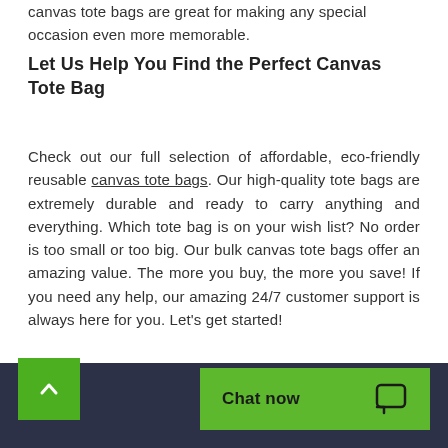canvas tote bags are great for making any special occasion even more memorable.
Let Us Help You Find the Perfect Canvas Tote Bag
Check out our full selection of affordable, eco-friendly reusable canvas tote bags. Our high-quality tote bags are extremely durable and ready to carry anything and everything. Which tote bag is on your wish list? No order is too small or too big. Our bulk canvas tote bags offer an amazing value. The more you buy, the more you save! If you need any help, our amazing 24/7 customer support is always here for you. Let's get started!